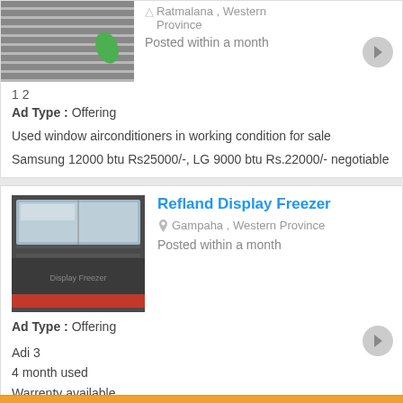[Figure (photo): Partial image of window air conditioner, cropped at top]
1 2
Ad Type : Offering
Used window airconditioners in working condition for sale
Samsung 12000 btu Rs25000/-, LG 9000 btu Rs.22000/- negotiable
[Figure (photo): Photo of a Refland display freezer unit]
Refland Display Freezer
Gampaha , Western Province
Posted within a month
Ad Type : Offering
Adi 3
4 month used
Warrenty available
« Previous  2  3  Next »